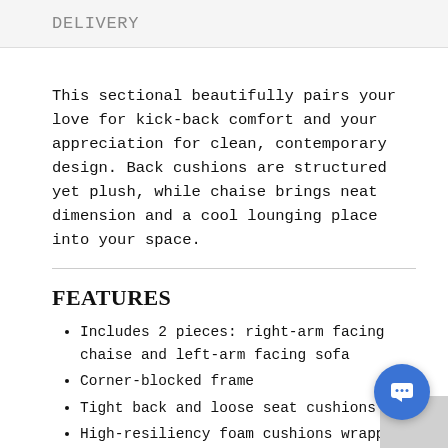DELIVERY
This sectional beautifully pairs your love for kick-back comfort and your appreciation for clean, contemporary design. Back cushions are structured yet plush, while chaise brings neat dimension and a cool lounging place into your space.
FEATURES
Includes 2 pieces: right-arm facing chaise and left-arm facing sofa
Corner-blocked frame
Tight back and loose seat cushions
High-resiliency foam cushions wrapped thick poly fiber
2 decorative pillows included